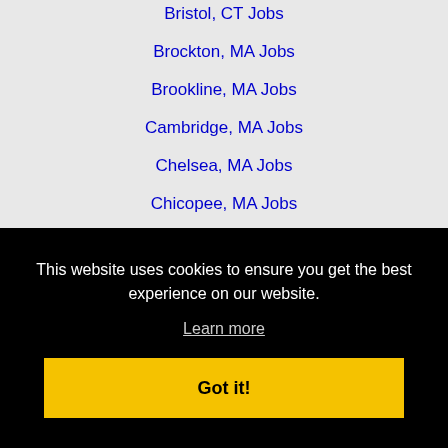Bristol, CT Jobs
Brockton, MA Jobs
Brookline, MA Jobs
Cambridge, MA Jobs
Chelsea, MA Jobs
Chicopee, MA Jobs
Concord, NH Jobs
Cranston, RI Jobs
East Hartford, CT Jobs
East Providence, RI Jobs
This website uses cookies to ensure you get the best experience on our website.
Learn more
Got it!